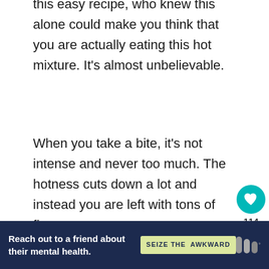this easy recipe, who knew this alone could make you think that you are actually eating this hot mixture. It's almost unbelievable.
When you take a bite, it's not intense and never too much. The hotness cuts down a lot and instead you are left with tons of flavor.
It's true, this Jamaican Jerk Chicken tastes very similar to the real deal. It's not exact to me at least, but it's so close to that flavor that I get that incredible feeling of
[Figure (other): Heart/like button (teal circle with heart icon), like count 114, and share button]
[Figure (other): What's Next widget showing Skinny Pineapple... with circular food image]
[Figure (other): Advertisement banner: Reach out to a friend about their mental health. SEIZE THE AWKWARD]